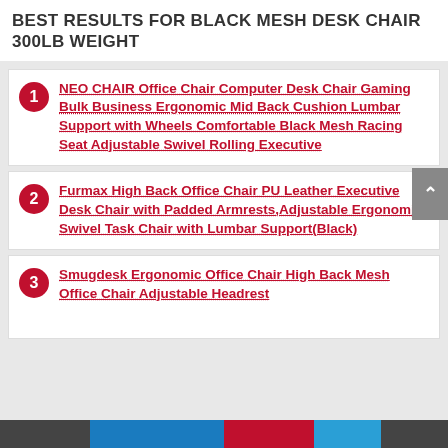BEST RESULTS FOR BLACK MESH DESK CHAIR 300LB WEIGHT
NEO CHAIR Office Chair Computer Desk Chair Gaming Bulk Business Ergonomic Mid Back Cushion Lumbar Support with Wheels Comfortable Black Mesh Racing Seat Adjustable Swivel Rolling Executive
Furmax High Back Office Chair PU Leather Executive Desk Chair with Padded Armrests,Adjustable Ergonomic Swivel Task Chair with Lumbar Support(Black)
Smugdesk Ergonomic Office Chair High Back Mesh Office Chair Adjustable Headrest